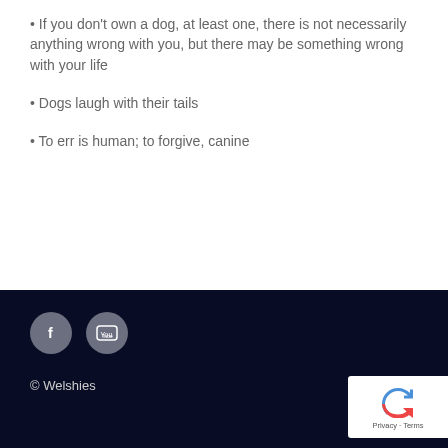• If you don't own a dog, at least one, there is not necessarily anything wrong with you, but there may be something wrong with your life
• Dogs laugh with their tails
• To err is human; to forgive, canine
© Welshies